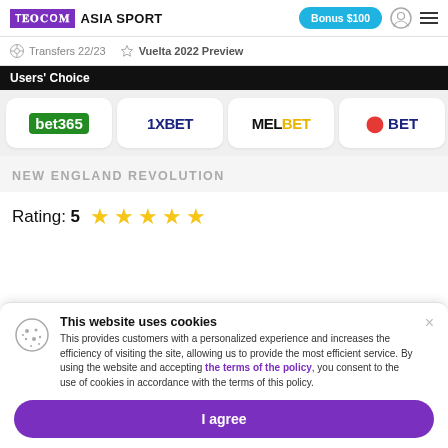TELECOM ASIA SPORT | Bonus $100
Transfers 22/23   Vuelta 2022 Preview
Users' Choice
[Figure (logo): Row of betting brand logos: bet365, 1XBET, MELBET, 22BET]
NEW ENGLAND REVOLUTION
Rating: 5 ★★★★★
This website uses cookies
This provides customers with a personalized experience and increases the efficiency of visiting the site, allowing us to provide the most efficient service. By using the website and accepting the terms of the policy, you consent to the use of cookies in accordance with the terms of this policy.
I agree